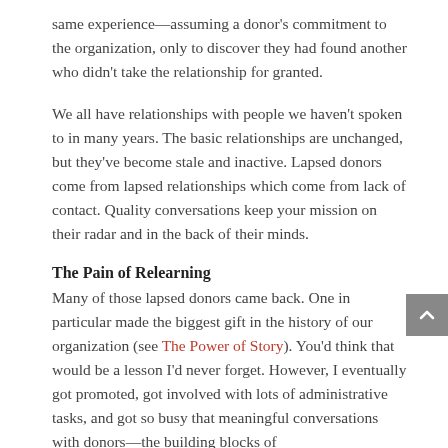same experience—assuming a donor's commitment to the organization, only to discover they had found another who didn't take the relationship for granted.
We all have relationships with people we haven't spoken to in many years. The basic relationships are unchanged, but they've become stale and inactive. Lapsed donors come from lapsed relationships which come from lack of contact. Quality conversations keep your mission on their radar and in the back of their minds.
The Pain of Relearning
Many of those lapsed donors came back. One in particular made the biggest gift in the history of our organization (see The Power of Story). You'd think that would be a lesson I'd never forget. However, I eventually got promoted, got involved with lots of administrative tasks, and got so busy that meaningful conversations with donors—the building blocks of